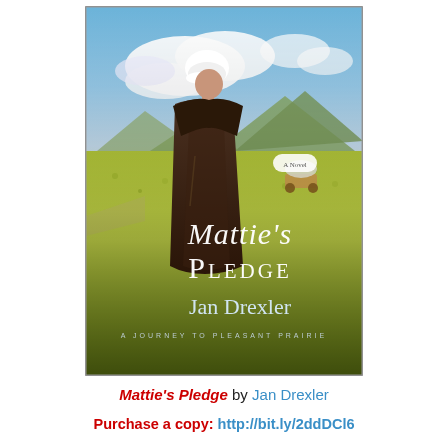[Figure (photo): Book cover of 'Mattie's Pledge' by Jan Drexler. Shows an Amish woman in a brown dress and white bonnet standing in a green prairie field with mountains and clouds in the background. A covered wagon is visible in the distance. The title 'Mattie's Pledge' is displayed in large white script lettering, and 'Jan Drexler' is shown below in white text. A small badge reads 'A Novel'. Subtitle reads 'A Journey to Pleasant Prairie'.]
Mattie's Pledge by Jan Drexler
Purchase a copy: http://bit.ly/2ddDCl6